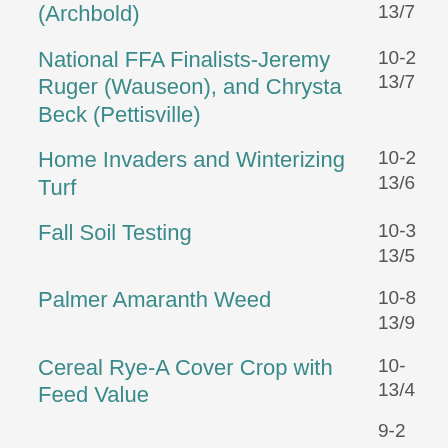(Archbold)
National FFA Finalists-Jeremy Ruger (Wauseon), and Chrysta Beck (Pettisville)
Home Invaders and Winterizing Turf
Fall Soil Testing
Palmer Amaranth Weed
Cereal Rye-A Cover Crop with Feed Value